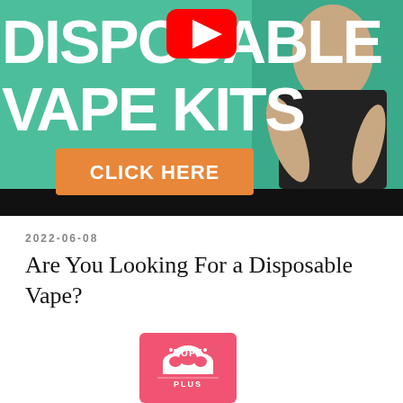[Figure (screenshot): YouTube video thumbnail showing a vape advertisement. Green background with large white bold text reading 'DISPOSABLE VAPE KITS'. An orange button with white text 'CLICK HERE'. A YouTube play button icon in the center-top. A person in a black t-shirt visible on the right side. A black bar at the bottom of the video.]
2022-06-08
Are You Looking For a Disposable Vape?
[Figure (logo): Puff Plus logo on a pink/red rounded rectangle background with a cloud icon and the text 'PUFF PLUS']